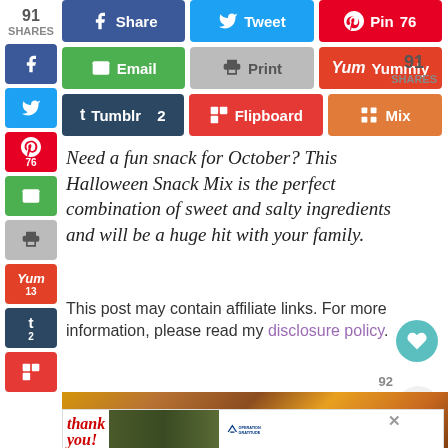[Figure (screenshot): Social share buttons: Share (Facebook), Tweet (Twitter), Pin 76 (Pinterest), Email, Print, Yummly, Tumblr 2, Flipboard, Mix — with 91 SHARES count on left and right]
Need a fun snack for October? This Halloween Snack Mix is the perfect combination of sweet and salty ingredients and will be a huge hit with your family.
This post may contain affiliate links. For more information, please read my disclosure policy.
[Figure (photo): Close-up photo of Halloween snack mix with pretzels, nuts, candy-coated pieces, and crackers]
[Figure (photo): Advertisement banner: Thank You with Operation Gratitude logo showing soldiers]